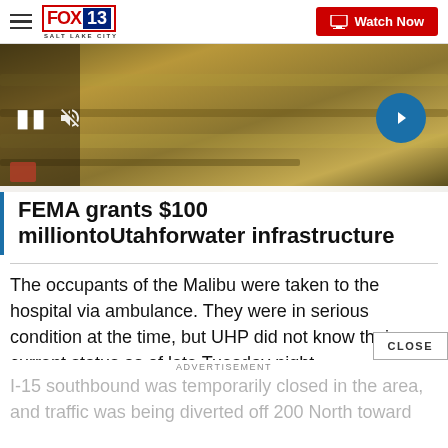FOX 13 SALT LAKE CITY | Watch Now
[Figure (screenshot): Video thumbnail showing a landscape scene with video controls (pause and mute icons) and a blue circular next arrow button. Overlay text: FEMA grants $100 million to Utah for water infrastructure]
FEMA grants $100 milliontoUtahforwater infrastructure
The occupants of the Malibu were taken to the hospital via ambulance. They were in serious condition at the time, but UHP did not know their current status as of late Tuesday night.
I-15 southbound was temporarily closed in the area, and traffic was being diverted off 200 North toward...